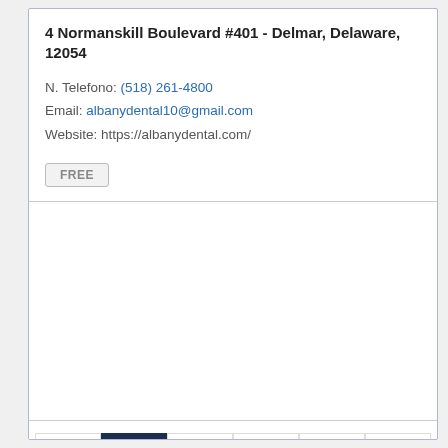4 Normanskill Boulevard #401 - Delmar, Delaware, 12054
N. Telefono: (518) 261-4800
Email: albanydental10@gmail.com
Website: https://albanydental.com/
FREE
« 1 2 3 4 5 6 7 8 ... 15 16 »